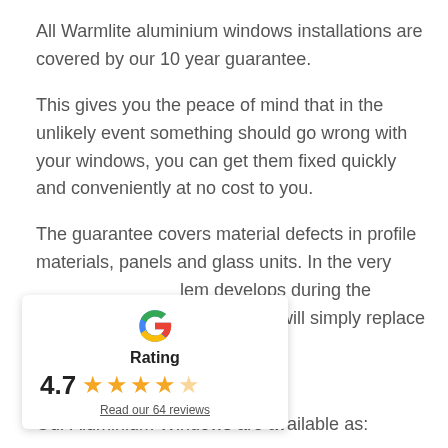All Warmlite aluminium windows installations are covered by our 10 year guarantee.
This gives you the peace of mind that in the unlikely event something should go wrong with your windows, you can get them fixed quickly and conveniently at no cost to you.
The guarantee covers material defects in profile materials, panels and glass units. In the very lem develops during the lite will simply replace the
[Figure (infographic): Google rating widget showing 4.7 stars out of 5, with a Google 'G' logo, the word 'Rating', the score 4.7, five stars (four full, one partial), and a link 'Read our 64 reviews']
Our Aluminium Windows are available as: